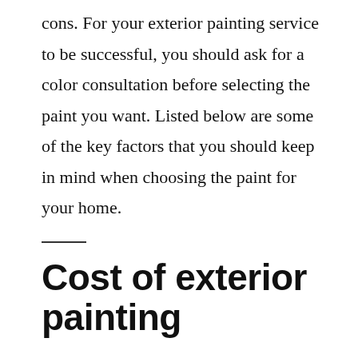cons. For your exterior painting service to be successful, you should ask for a color consultation before selecting the paint you want. Listed below are some of the key factors that you should keep in mind when choosing the paint for your home.
Cost of exterior painting
When looking for a painter to perform